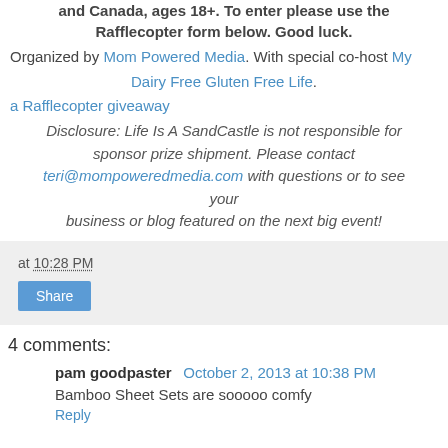and Canada, ages 18+. To enter please use the Rafflecopter form below. Good luck.
Organized by Mom Powered Media. With special co-host My Dairy Free Gluten Free Life.
a Rafflecopter giveaway
Disclosure: Life Is A SandCastle is not responsible for sponsor prize shipment. Please contact teri@mompoweredmedia.com with questions or to see your business or blog featured on the next big event!
at 10:28 PM
Share
4 comments:
pam goodpaster October 2, 2013 at 10:38 PM
Bamboo Sheet Sets are sooooo comfy
Reply